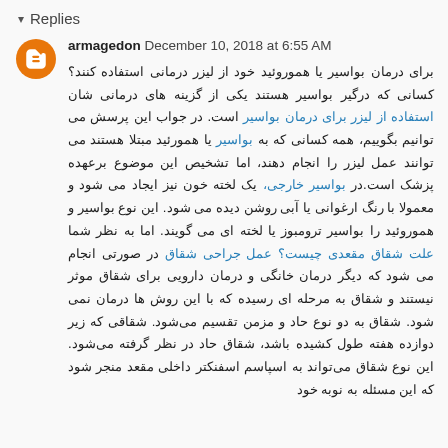▾ Replies
armagedon December 10, 2018 at 6:55 AM
برای درمان بواسیر یا هموروئید خود از لیزر درمانی استفاده کنند؟ کسانی که درگیر بواسیر هستند یکی از گزینه های درمانی شان استفاده از لیزر برای درمان بواسیر است. در جواب این پرسش می توانیم بگوییم، همه کسانی که به بواسیر یا همورئید مبتلا هستند می توانند عمل لیزر را انجام دهند، اما تشخیص این موضوع برعهده پزشک است.در بواسیر خارجی، یک لخته خون نیز ایجاد می شود و معمولا با رنگ ارغوانی یا آبی روشن دیده می شود. این نوع بواسیر و هموروئید را بواسیر ترومبوز یا لخته ای می گویند. اما به نظر شما علت شقاق مقعدی چیست؟ عمل جراحی شقاق در صورتی انجام می شود که دیگر درمان خانگی و درمان دارویی برای شقاق موثر نیستند و شقاق به مرحله ای رسیده که با این روش ها درمان نمی شود. شقاق به دو نوع حاد و مزمن تقسیم می‌شود. شقاقی که زیر دوازده هفته طول کشیده باشد، شقاق حاد در نظر گرفته می‌شود. این نوع شقاق می‌تواند به اسپاسم اسفنکتر داخلی مقعد منجر شود که این مسئله به نوبه خود